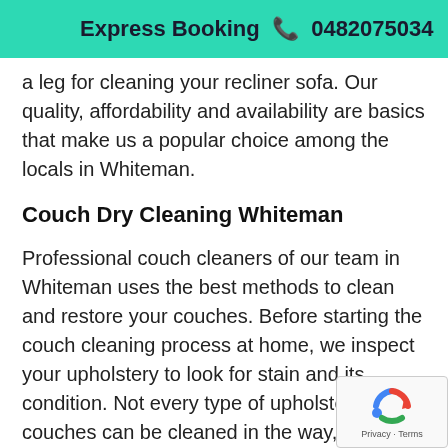Express Booking  0482075034   n and
a leg for cleaning your recliner sofa. Our quality, affordability and availability are basics that make us a popular choice among the locals in Whiteman.
Couch Dry Cleaning Whiteman
Professional couch cleaners of our team in Whiteman uses the best methods to clean and restore your couches. Before starting the couch cleaning process at home, we inspect your upholstery to look for stain and its condition. Not every type of upholstery and couches can be cleaned in the way, hence, inspection of the couches in necessary. Once, we are done with the investigation our cleaning team proceeds with the cleaning process. And couch dry cleaning is one s cleaning method that helps us bring your upholst back to life.